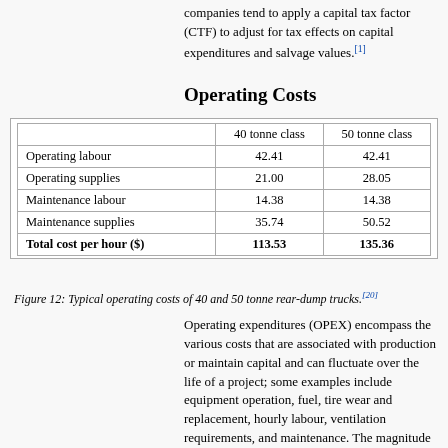companies tend to apply a capital tax factor (CTF) to adjust for tax effects on capital expenditures and salvage values.[1]
Operating Costs
|  | 40 tonne class | 50 tonne class |
| --- | --- | --- |
| Operating labour | 42.41 | 42.41 |
| Operating supplies | 21.00 | 28.05 |
| Maintenance labour | 14.38 | 14.38 |
| Maintenance supplies | 35.74 | 50.52 |
| Total cost per hour ($) | 113.53 | 135.36 |
Figure 12: Typical operating costs of 40 and 50 tonne rear-dump trucks.[20]
Operating expenditures (OPEX) encompass the various costs that are associated with production or maintain capital and can fluctuate over the life of a project; some examples include equipment operation, fuel, tire wear and replacement, hourly labour, ventilation requirements, and maintenance. The magnitude of these costs can be contingent on production output and their capital use, and are typically incurred at least once a year, if not